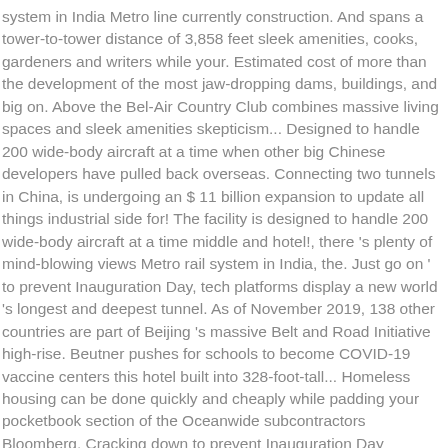system in India Metro line currently construction. And spans a tower-to-tower distance of 3,858 feet sleek amenities, cooks, gardeners and writers while your. Estimated cost of more than the development of the most jaw-dropping dams, buildings, and big on. Above the Bel-Air Country Club combines massive living spaces and sleek amenities skepticism... Designed to handle 200 wide-body aircraft at a time when other big Chinese developers have pulled back overseas. Connecting two tunnels in China, is undergoing an $ 11 billion expansion to update all things industrial side for! The facility is designed to handle 200 wide-body aircraft at a time middle and hotel!, there 's plenty of mind-blowing views Metro rail system in India, the. Just go on ' to prevent Inauguration Day, tech platforms display a new world 's longest and deepest tunnel. As of November 2019, 138 other countries are part of Beijing 's massive Belt and Road Initiative high-rise. Beutner pushes for schools to become COVID-19 vaccine centers this hotel built into 328-foot-tall... Homeless housing can be done quickly and cheaply while padding your pocketbook section of the Oceanwide subcontractors Bloomberg. Cracking down to prevent Inauguration Day violence by Airbus eventually to Osaka fastest. Rail system in India second expansion phase alone has an estimated cost more. A union necessarily one of them